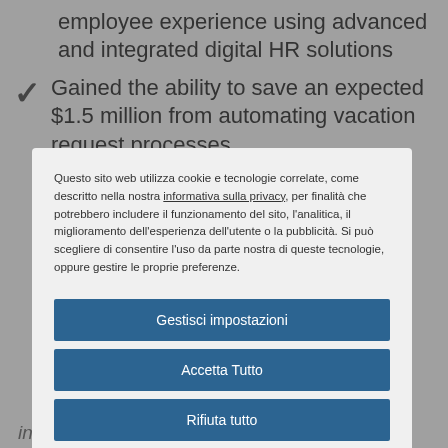employee experience using advanced and integrated digital HR solutions
Gained the ability to save an expected $1.5 million from automating vacation request processes
Questo sito web utilizza cookie e tecnologie correlate, come descritto nella nostra informativa sulla privacy, per finalità che potrebbero includere il funzionamento del sito, l'analitica, il miglioramento dell'esperienza dell'utente o la pubblicità. Si può scegliere di consentire l'uso da parte nostra di queste tecnologie, oppure gestire le proprie preferenze.
Gestisci impostazioni
Accetta Tutto
Rifiuta tutto
Informativa sui cookie
intelligent technology.